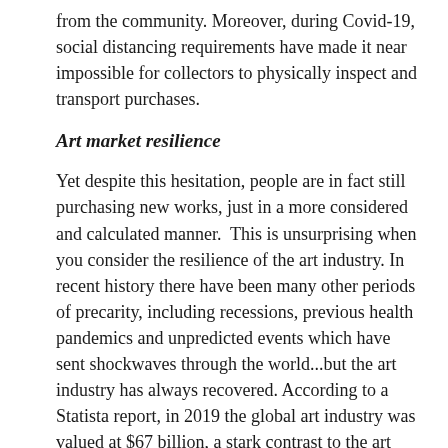from the community. Moreover, during Covid-19, social distancing requirements have made it near impossible for collectors to physically inspect and transport purchases.
Art market resilience
Yet despite this hesitation, people are in fact still purchasing new works, just in a more considered and calculated manner.  This is unsurprising when you consider the resilience of the art industry. In recent history there have been many other periods of precarity, including recessions, previous health pandemics and unpredicted events which have sent shockwaves through the world...but the art industry has always recovered. According to a Statista report, in 2019 the global art industry was valued at $67 billion, a stark contrast to the art market's $39 billion evaluation in 2009 and 40...